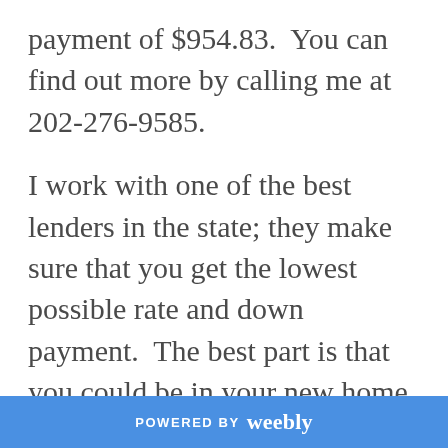payment of $954.83.  You can find out more by calling me at 202-276-9585.
I work with one of the best lenders in the state; they make sure that you get the lowest possible rate and down payment.  The best part is that you could be in your new home in 30 days! Getting pre-qualified is easier than completing a
POWERED BY weebly